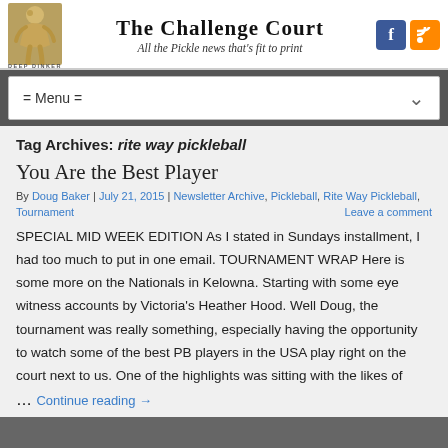THE CHALLENGE COURT — All the Pickle news that's fit to print
= Menu =
Tag Archives: rite way pickleball
You Are the Best Player
By Doug Baker | July 21, 2015 | Newsletter Archive, Pickleball, Rite Way Pickleball, Tournament | Leave a comment
SPECIAL MID WEEK EDITION As I stated in Sundays installment, I had too much to put in one email. TOURNAMENT WRAP Here is some more on the Nationals in Kelowna. Starting with some eye witness accounts by Victoria's Heather Hood. Well Doug, the tournament was really something, especially having the opportunity to watch some of the best PB players in the USA play right on the court next to us. One of the highlights was sitting with the likes of
Continue reading →